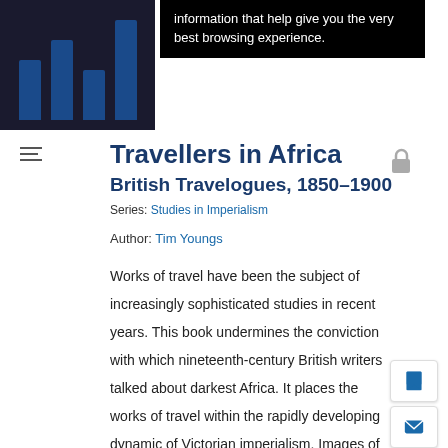[Figure (screenshot): Black tooltip banner with text about browsing experience]
information that help give you the very best browsing experience.
Travellers in Africa
British Travelogues, 1850–1900
Series: Studies in Imperialism
Author: Tim Youngs
Works of travel have been the subject of increasingly sophisticated studies in recent years. This book undermines the conviction with which nineteenth-century British writers talked about darkest Africa. It places the works of travel within the rapidly developing dynamic of Victorian imperialism. Images of Abyssinia and the means of